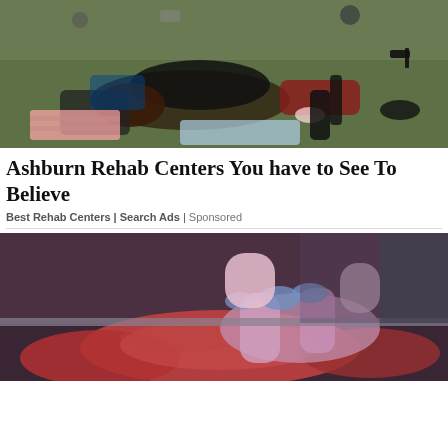[Figure (photo): People lying on grass at an outdoor event surrounded by bags, bottles, and clothing]
Ashburn Rehab Centers You have to See To Believe
Best Rehab Centers | Search Ads | Sponsored
[Figure (photo): Person in blue gloves handling raw meat at a butcher counter]